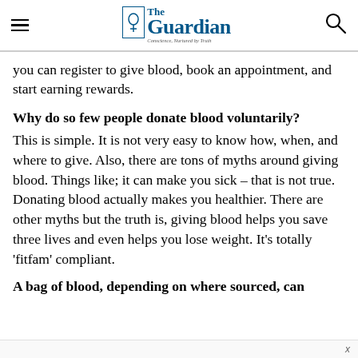The Guardian — Conscience, Nurtured by Truth
you can register to give blood, book an appointment, and start earning rewards.
Why do so few people donate blood voluntarily?
This is simple. It is not very easy to know how, when, and where to give. Also, there are tons of myths around giving blood. Things like; it can make you sick – that is not true. Donating blood actually makes you healthier. There are other myths but the truth is, giving blood helps you save three lives and even helps you lose weight. It's totally 'fitfam' compliant.
A bag of blood, depending on where sourced, can